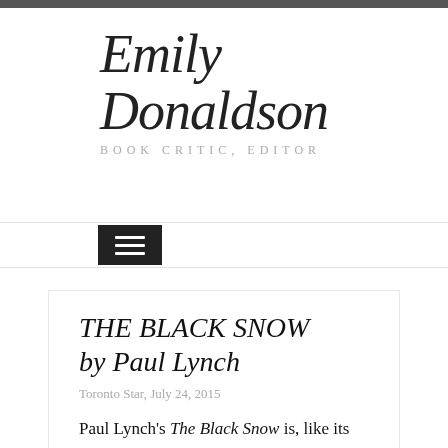Emily Donaldson
BOOK CRITIC, EDITOR
THE BLACK SNOW by Paul Lynch
Toronto Star, July 24, 2015
Paul Lynch's The Black Snow is, like its predecessor, Red Sky in Morning, a